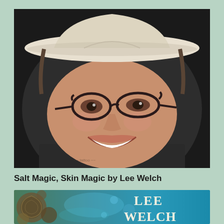[Figure (photo): Portrait photo of a person wearing a white cowboy hat and black cat-eye glasses, smiling broadly, against a dark background.]
Salt Magic, Skin Magic by Lee Welch
[Figure (illustration): Book cover for Salt Magic, Skin Magic by Lee Welch showing oceanic/fantasy imagery with the author name 'LEE WELCH' in large text.]